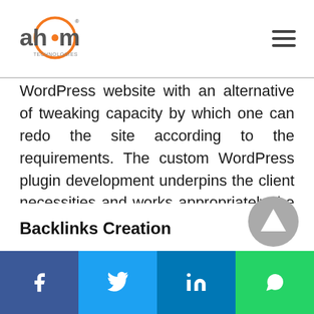ah•m Technologies logo and hamburger menu
WordPress website with an alternative of tweaking capacity by which one can redo the site according to the requirements. The custom WordPress plugin development underpins the client necessities and works appropriately the way the site proprietor needs. Henceforth, picking an appropriate WordPress plugin for the site is something more significant perspective to manage for the achievement of a specific business.
Backlinks Creation
Social share bar: Facebook, Twitter, LinkedIn, WhatsApp